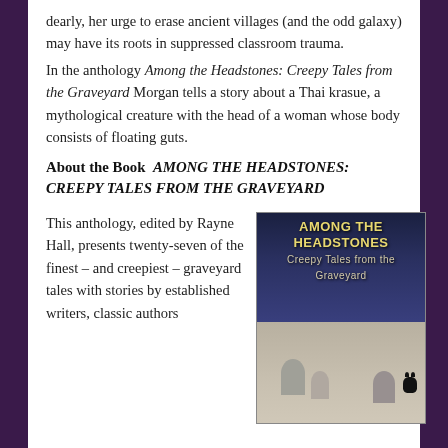dearly, her urge to erase ancient villages (and the odd galaxy) may have its roots in suppressed classroom trauma.
In the anthology Among the Headstones: Creepy Tales from the Graveyard Morgan tells a story about a Thai krasue, a mythological creature with the head of a woman whose body consists of floating guts.
About the Book  AMONG THE HEADSTONES: CREEPY TALES FROM THE GRAVEYARD
This anthology, edited by Rayne Hall, presents twenty-seven of the finest – and creepiest – graveyard tales with stories by established writers, classic authors
[Figure (illustration): Book cover of 'Among the Headstones: Creepy Tales from the Graveyard' showing title text in yellow/gold on a dark blue night sky background, with gravestones and a black cat in the lower portion]